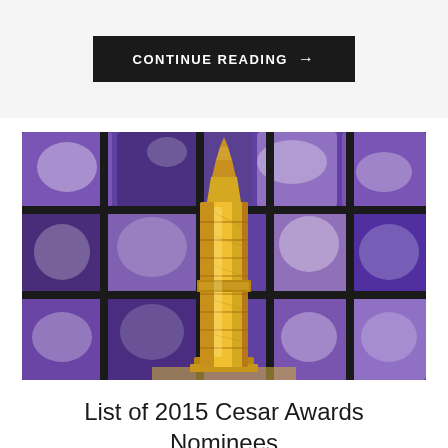CONTINUE READING →
[Figure (photo): A gold César Award trophy standing upright against a purple/blue geometric background with grid-like panels lit with purple and white light.]
List of 2015 Cesar Awards Nominees